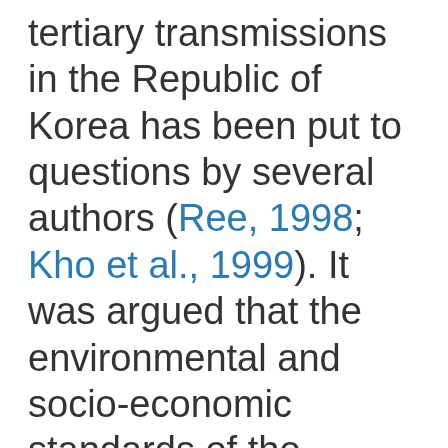tertiary transmissions in the Republic of Korea has been put to questions by several authors (Ree, 1998; Kho et al., 1999). It was argued that the environmental and socio-economic standards of the people in the south are so high that secondary, tertiary transmissions, and settlement of malaria would be less possible (Ree, 1998)